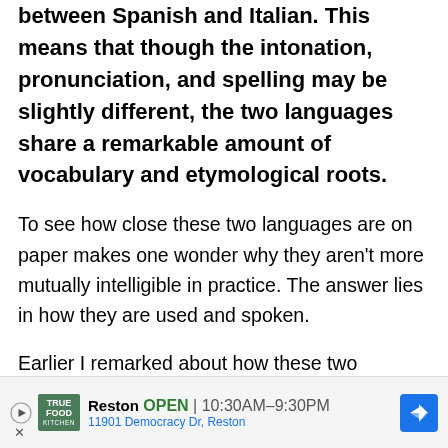between Spanish and Italian. This means that though the intonation, pronunciation, and spelling may be slightly different, the two languages share a remarkable amount of vocabulary and etymological roots.
To see how close these two languages are on paper makes one wonder why they aren't more mutually intelligible in practice. The answer lies in how they are used and spoken.
Earlier I remarked about how these two languages grew up in different regions with completely different cultures. Though they both trace their li...
[Figure (other): Advertisement banner for True Food Kitchen, Reston location. Shows logo, OPEN status, hours 10:30AM-9:30PM, address 11901 Democracy Dr, Reston, and a navigation arrow icon.]